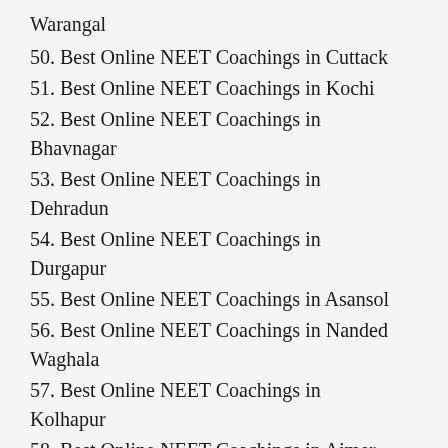Warangal
50. Best Online NEET Coachings in Cuttack
51. Best Online NEET Coachings in Kochi
52. Best Online NEET Coachings in Bhavnagar
53. Best Online NEET Coachings in Dehradun
54. Best Online NEET Coachings in Durgapur
55. Best Online NEET Coachings in Asansol
56. Best Online NEET Coachings in Nanded Waghala
57. Best Online NEET Coachings in Kolhapur
58. Best Online NEET Coachings in Ajmer
59. Best Online NEET Coachings in